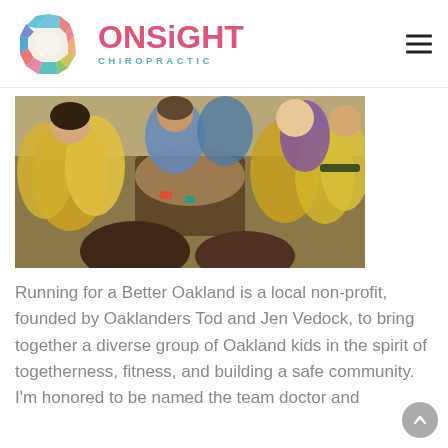[Figure (logo): ONSiGHT Chiropractic logo with geometric octagon icon and text]
[Figure (photo): Group of children and adults in yellow shirts doing a team huddle with hands stacked in center]
Running for a Better Oakland is a local non-profit, founded by Oaklanders Tod and Jen Vedock, to bring together a diverse group of Oakland kids in the spirit of togetherness, fitness, and building a safe community.  I'm honored to be named the team doctor and